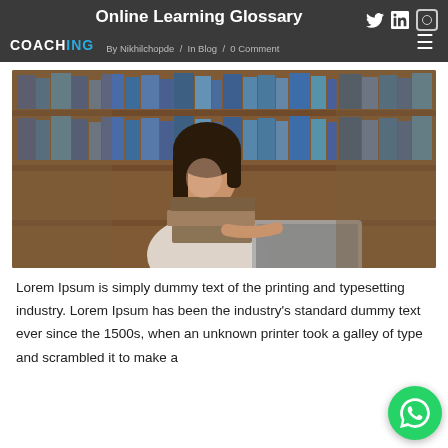Online Learning Glossary
By Nikhilchopde / In Blog / 0 Comment
[Figure (photo): Young woman with dark hair studying on a laptop in a library surrounded by stacked books and bookshelves in the background.]
Lorem Ipsum is simply dummy text of the printing and typesetting industry. Lorem Ipsum has been the industry's standard dummy text ever since the 1500s, when an unknown printer took a galley of type and scrambled it to make a